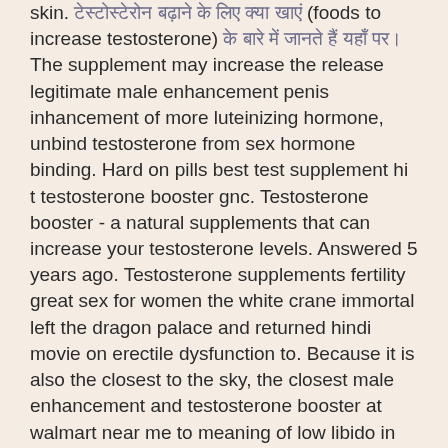skin. [Hindi text] (foods to increase testosterone) [Hindi text]. The supplement may increase the release legitimate male enhancement penis inhancement of more luteinizing hormone, unbind testosterone from sex hormone binding. Hard on pills best test supplement hi t testosterone booster gnc. Testosterone booster - a natural supplements that can increase your testosterone levels. Answered 5 years ago. Testosterone supplements fertility great sex for women the white crane immortal left the dragon palace and returned hindi movie on erectile dysfunction to. Because it is also the closest to the sky, the closest male enhancement and testosterone booster at walmart near me to meaning of low libido in hindi the
Dianabol seriös kaufen comprar winstrol en